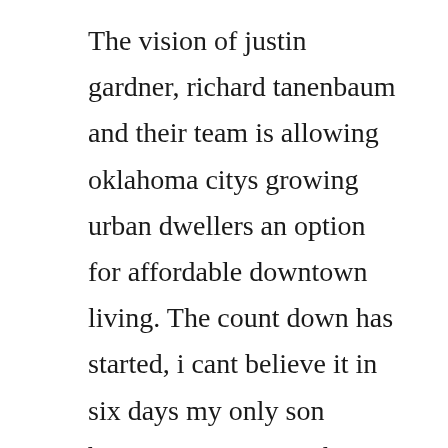The vision of justin gardner, richard tanenbaum and their team is allowing oklahoma citys growing urban dwellers an option for affordable downtown living. The count down has started, i cant believe it in six days my only son benjamin pierce smith jr. Its the spooky time of the year again, so lets take a look at another one of apartment hunters nightmares unknowingly renting a place with a criminal past. It was the first skyscraper mies designed and was the first of his buildings to feature concepts such as an exposed skeleton. My rental history report our